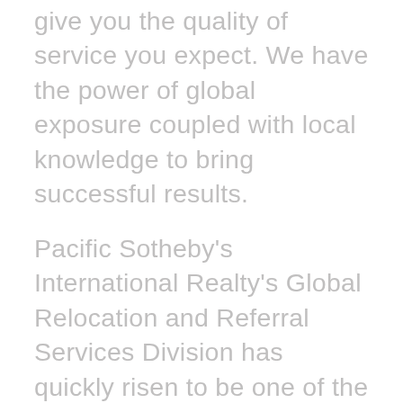give you the quality of service you expect. We have the power of global exposure coupled with local knowledge to bring successful results.
Pacific Sotheby's International Realty's Global Relocation and Referral Services Division has quickly risen to be one of the preeminent in the World, exceeding the expectations of individuals, corporate clients, and relocation management companies alike by providing local expertise, global presence, and unprecedented brand